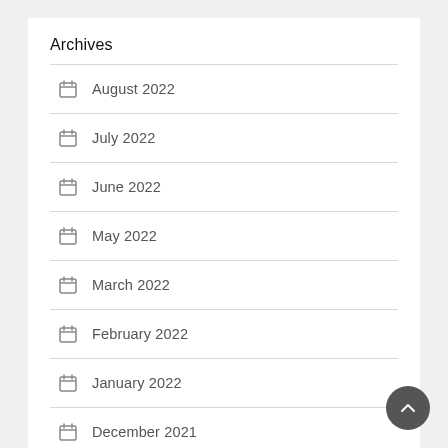Archives
August 2022
July 2022
June 2022
May 2022
March 2022
February 2022
January 2022
December 2021
September 2021